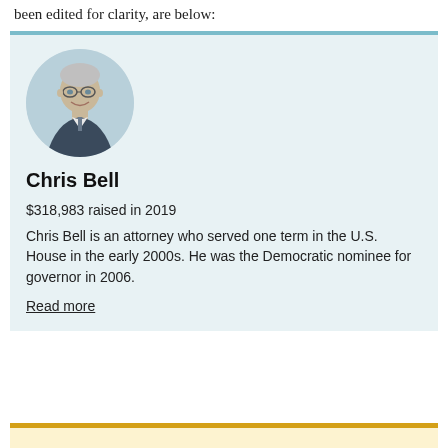been edited for clarity, are below:
[Figure (photo): Circular headshot photo of Chris Bell, a man with gray hair and glasses wearing a suit]
Chris Bell
$318,983 raised in 2019
Chris Bell is an attorney who served one term in the U.S. House in the early 2000s. He was the Democratic nominee for governor in 2006.
Read more